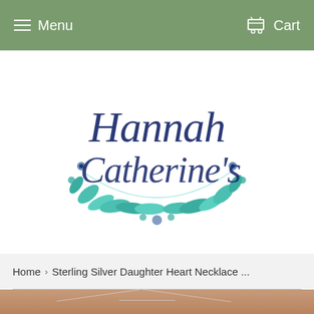Menu   Cart
[Figure (logo): Hannah Catherine's script logo with watercolor floral wreath in teal and blue-green, text in dark navy cursive script]
Home › Sterling Silver Daughter Heart Necklace ...
[Figure (photo): Product photo of a sterling silver necklace on a person's neck/chest, showing delicate silver chain links on warm skin tone background]